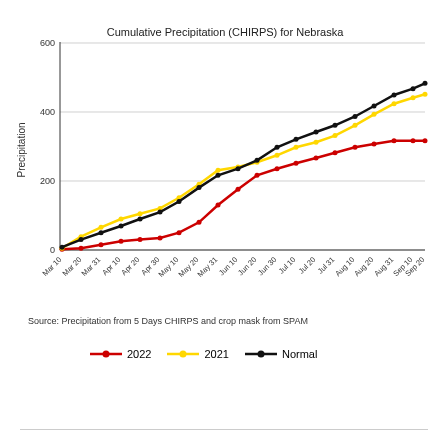[Figure (line-chart): Cumulative Precipitation (CHIRPS) for Nebraska]
Source: Precipitation from 5 Days CHIRPS and crop mask from SPAM